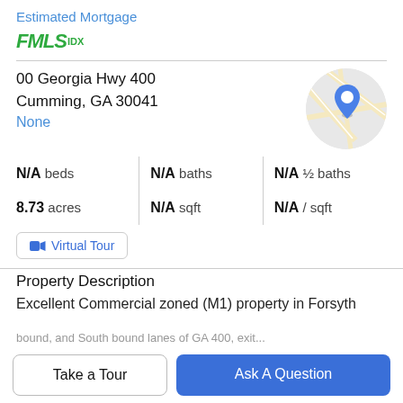Estimated Mortgage
[Figure (logo): FMLS IDX logo in green]
00 Georgia Hwy 400
Cumming, GA 30041
None
[Figure (map): Circular map thumbnail showing location with blue pin marker]
| N/A beds | N/A baths | N/A ½ baths |
| 8.73 acres | N/A sqft | N/A / sqft |
Virtual Tour
Property Description
Excellent Commercial zoned (M1) property in Forsyth
Take a Tour
Ask A Question